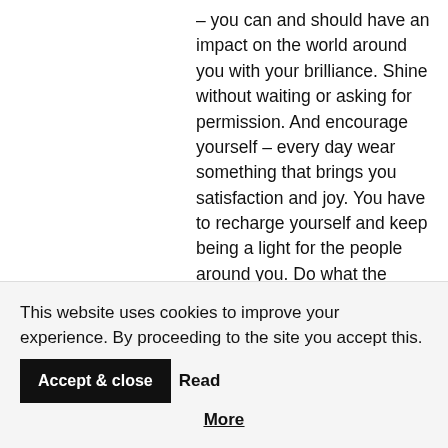– you can and should have an impact on the world around you with your brilliance. Shine without waiting or asking for permission. And encourage yourself – every day wear something that brings you satisfaction and joy. You have to recharge yourself and keep being a light for the people around you. Do what the voice within is telling you – you might not always be sure where it will lead, but do it anyway. It is likely leading to glory. Believe in and know yourself – take your brilliance wherever you go!

I intentionally made the photos today
This website uses cookies to improve your experience. By proceeding to the site you accept this. Accept & close Read More